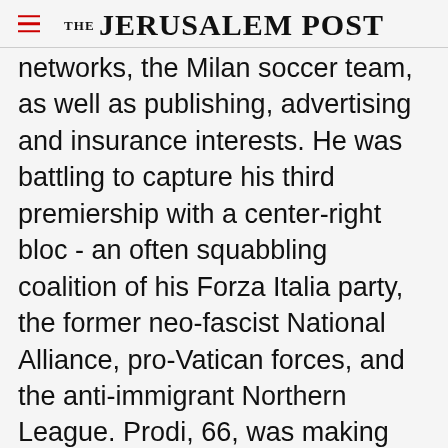THE JERUSALEM POST
networks, the Milan soccer team, as well as publishing, advertising and insurance interests. He was battling to capture his third premiership with a center-right bloc - an often squabbling coalition of his Forza Italia party, the former neo-fascist National Alliance, pro-Vatican forces, and the anti-immigrant Northern League. Prodi, 66, was making his comeback bid with a potentially unwieldy coalition of moderate Christian Democrats, Greens, liberals, former Communists
Advertisement